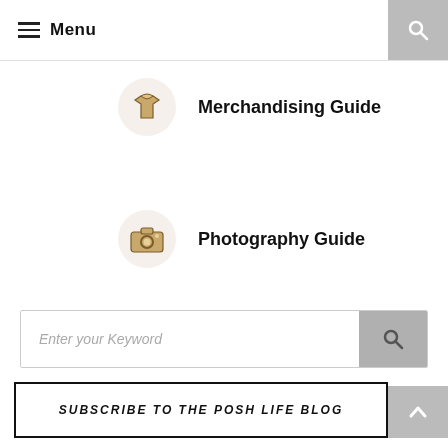Menu
Merchandising Guide
Photography Guide
Enter your Keyword
—
SUBSCRIBE TO THE POSH LIFE BLOG